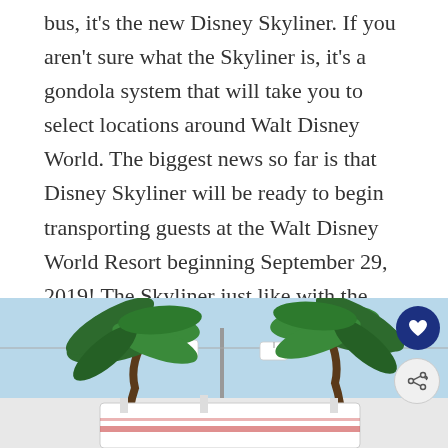bus, it's the new Disney Skyliner. If you aren't sure what the Skyliner is, it's a gondola system that will take you to select locations around Walt Disney World. The biggest news so far is that Disney Skyliner will be ready to begin transporting guests at the Walt Disney World Resort beginning September 29, 2019! The Skyliner just like with the rest of Disney's transportation is FREE to use. This new transportation option joins Disney's current selection of buses, boats, trains, and monorails.
[Figure (photo): Photo showing palm trees against a blue sky, with white Disney Skyliner gondola structure visible below.]